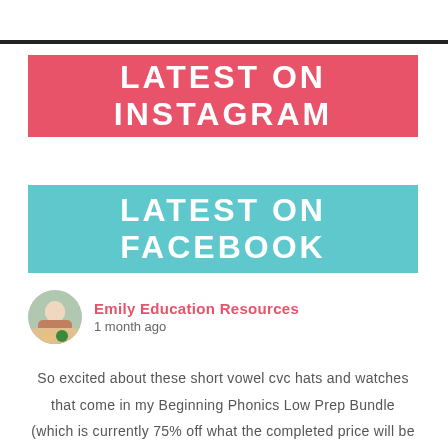LATEST ON INSTAGRAM
LATEST ON FACEBOOK
Emily Education Resources
1 month ago
So excited about these short vowel cvc hats and watches that come in my Beginning Phonics Low Prep Bundle (which is currently 75% off what the completed price will be 🤗)...and yes if you have my